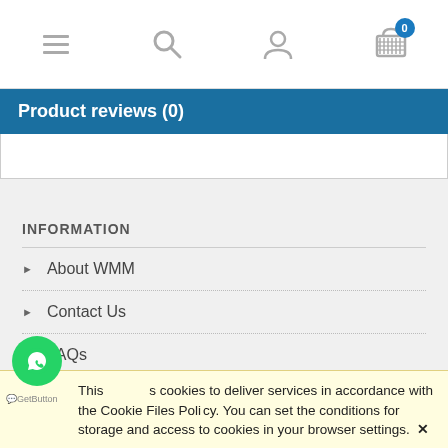Navigation bar with menu, search, user, and cart icons
Product reviews (0)
INFORMATION
About WMM
Contact Us
FAQs
How to Order
Bank Details
This site uses cookies to deliver services in accordance with the Cookie Files Policy. You can set the conditions for storage and access to cookies in your browser settings. ✕